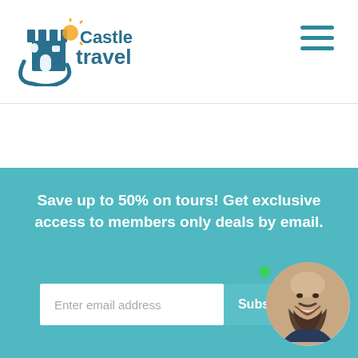[Figure (logo): Castle Travel logo with castle icon and sun symbol, teal and orange colors]
[Figure (infographic): Hamburger menu icon (three horizontal teal lines) in top right corner]
Save up to 50% on tours! Get exclusive access to members only deals by email.
[Figure (infographic): Email subscription area with white input field placeholder 'Enter email address', Subscribe button, green dot indicator, and circular avatar of smiling bald man with beard]